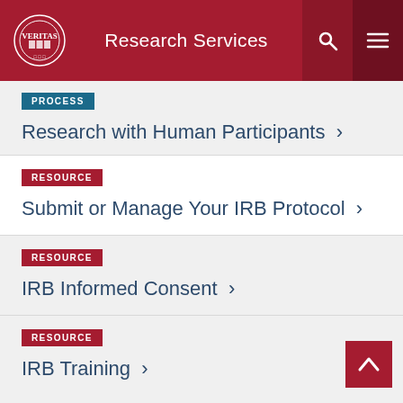Research Services
PROCESS
Research with Human Participants >
RESOURCE
Submit or Manage Your IRB Protocol >
RESOURCE
IRB Informed Consent >
RESOURCE
IRB Training >